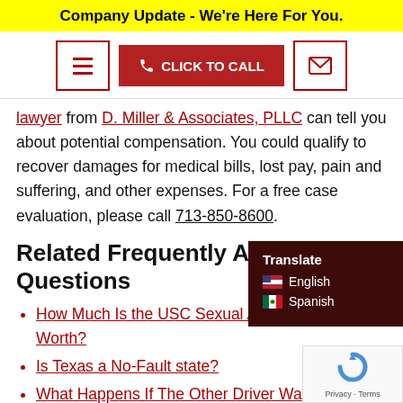Company Update - We're Here For You.
[Figure (screenshot): Navigation bar with hamburger menu icon, red CLICK TO CALL button with phone icon, and email icon button]
lawyer from D. Miller & Associates, PLLC can tell you about potential compensation. You could qualify to recover damages for medical bills, lost pay, pain and suffering, and other expenses. For a free case evaluation, please call 713-850-8600.
Related Frequently Asked Questions
How Much Is the USC Sexual Abuse Lawsuit Worth?
Is Texas a No-Fault state?
What Happens If The Other Driver Was Drunk